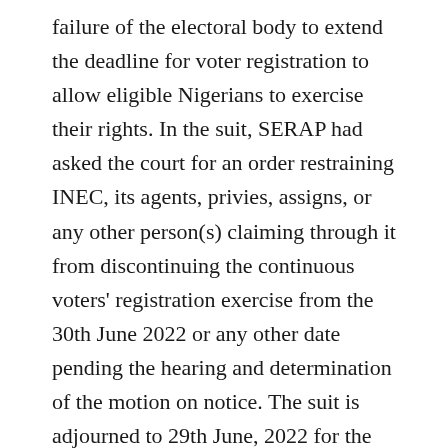failure of the electoral body to extend the deadline for voter registration to allow eligible Nigerians to exercise their rights. In the suit, SERAP had asked the court for an order restraining INEC, its agents, privies, assigns, or any other person(s) claiming through it from discontinuing the continuous voters' registration exercise from the 30th June 2022 or any other date pending the hearing and determination of the motion on notice. The suit is adjourned to 29th June, 2022 for the hearing of the Motion on Notice for interlocutory injunction.The suit followed the decision by INEC to extend the deadline for the conduct of primaries by political parties by six days, from June 3 to June 9. But the commission failed to also extend the online pre-registration which ended May 30 2022 and the